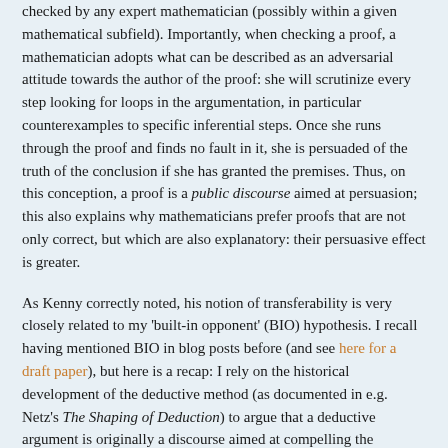checked by any expert mathematician (possibly within a given mathematical subfield). Importantly, when checking a proof, a mathematician adopts what can be described as an adversarial attitude towards the author of the proof: she will scrutinize every step looking for loops in the argumentation, in particular counterexamples to specific inferential steps. Once she runs through the proof and finds no fault in it, she is persuaded of the truth of the conclusion if she has granted the premises. Thus, on this conception, a proof is a public discourse aimed at persuasion; this also explains why mathematicians prefer proofs that are not only correct, but which are also explanatory: their persuasive effect is greater.
As Kenny correctly noted, his notion of transferability is very closely related to my 'built-in opponent' (BIO) hypothesis. I recall having mentioned BIO in blog posts before (and see here for a draft paper), but here is a recap: I rely on the historical development of the deductive method (as documented in e.g. Netz's The Shaping of Deduction) to argue that a deductive argument is originally a discourse aimed at compelling the audience to accept (the truth of) the conclusion, if they accept (the truth of) the premises. It is only in the modern period, in particular with Descartes and Kant, that the historical development has...